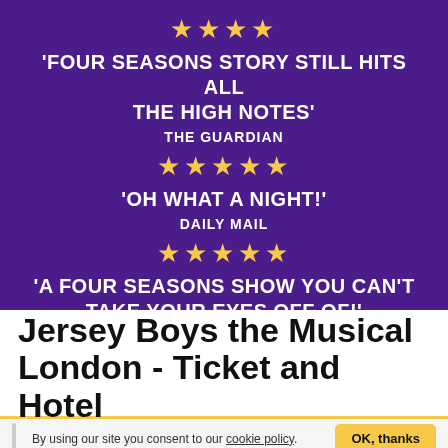[Figure (infographic): Purple background with three star ratings and review quotes for Jersey Boys the Musical]
'FOUR SEASONS STORY STILL HITS ALL THE HIGH NOTES' THE GUARDIAN
'OH WHAT A NIGHT!' DAILY MAIL
'A FOUR SEASONS SHOW YOU CAN'T TAKE YOUR EYES OFF OF!' THE TELEGRAPH
Jersey Boys the Musical London - Ticket and Hotel
By using our site you consent to our cookie policy. OK, thanks